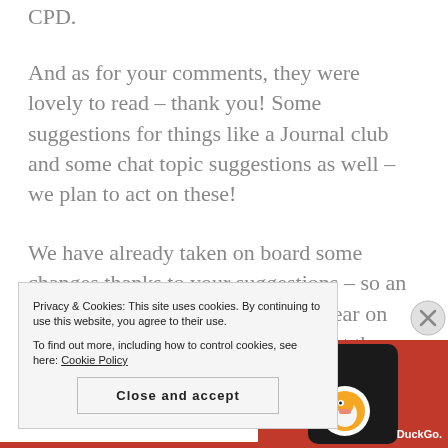CPD.
And as for your comments, they were lovely to read – thank you! Some suggestions for things like a Journal club and some chat topic suggestions as well – we plan to act on these!
We have already taken on board some changes thanks to your suggestions – so an earlier time, making sure we are clear on our website and twitter profile about the time of chats and [a]round
Privacy & Cookies: This site uses cookies. By continuing to use this website, you agree to their use.
To find out more, including how to control cookies, see here: Cookie Policy
[Figure (screenshot): DuckDuckGo app advertisement showing a phone with the DuckDuckGo duck logo on a red background]
Close and accept